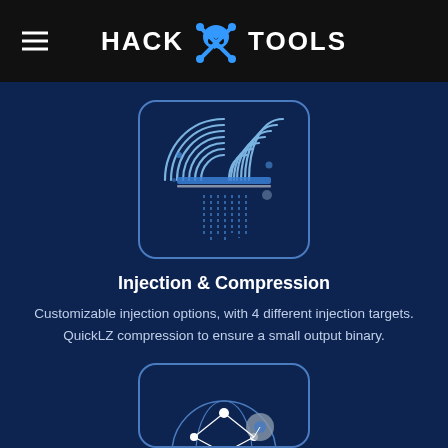HACK TOOLS
[Figure (illustration): Fingerprint scan icon with digital data streams, inside a rounded rectangle border, on dark blue background]
Injection & Compression
Customizable injection options, with 4 different injection targets. QuickLZ compression to ensure a small output binary.
[Figure (illustration): Network graph / globe icon with nodes and connections, partially visible at bottom of page, inside a rounded rectangle border]